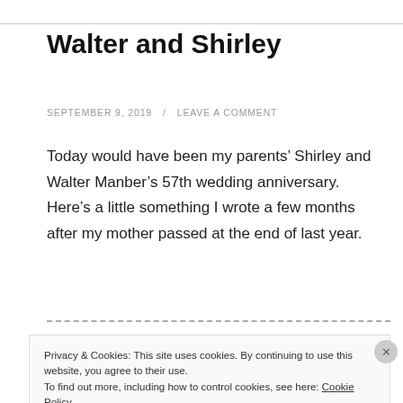Walter and Shirley
SEPTEMBER 9, 2019 / LEAVE A COMMENT
Today would have been my parents’ Shirley and Walter Manber’s 57th wedding anniversary. Here’s a little something I wrote a few months after my mother passed at the end of last year.
Privacy & Cookies: This site uses cookies. By continuing to use this website, you agree to their use.
To find out more, including how to control cookies, see here: Cookie Policy
Close and accept